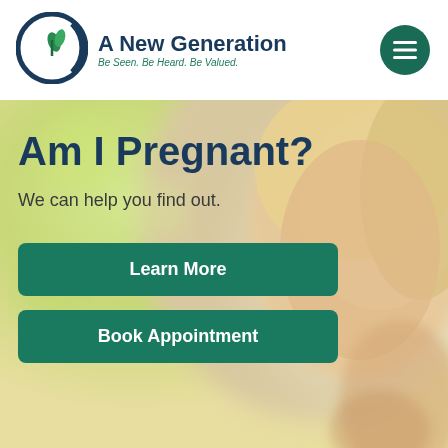[Figure (logo): A New Generation logo: circular crescent moon shape in dark teal with green sprout/plant inside]
A New Generation
Be Seen. Be Heard. Be Valued.
[Figure (photo): Blurred background photo of a woman with blonde hair looking thoughtful, resting her chin on her hand]
Am I Pregnant?
We can help you find out.
Learn More
Book Appointment